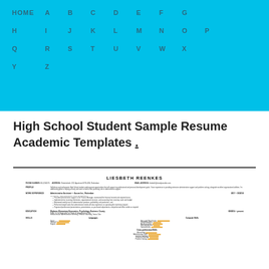HOME A B C D E F G H I J K L M N O P Q R S T U V W X Y Z
High School Student Sample Resume Academic Templates .
[Figure (other): Preview image of a resume for Liesbeth Reenkes, showing Profile, Work Experience, Education, and Skills sections]